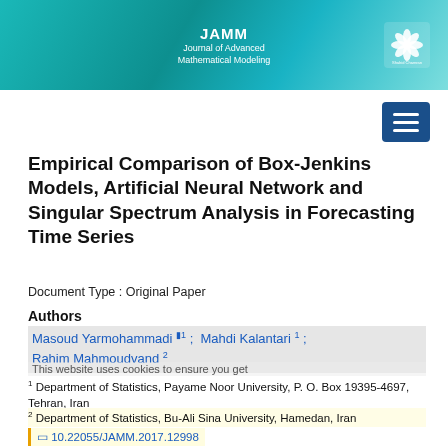JAMM Journal of Advanced Mathematical Modeling
Empirical Comparison of Box-Jenkins Models, Artificial Neural Network and Singular Spectrum Analysis in Forecasting Time Series
Document Type : Original Paper
Authors
Masoud Yarmohammadi [orcid] 1 ;  Mahdi Kalantari 1 ; Rahim Mahmoudvand 2
1 Department of Statistics, Payame Noor University, P. O. Box 19395-4697, Tehran, Iran
2 Department of Statistics, Bu-Ali Sina University, Hamedan, Iran
10.22055/JAMM.2017.12998